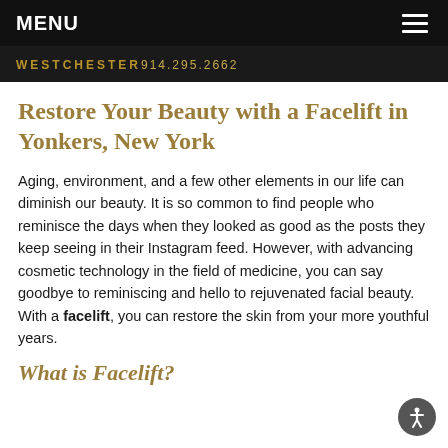MENU
WESTCHESTER 914.295.2662
Restore Your Beauty with a Facelift in Yonkers, New York
Aging, environment, and a few other elements in our life can diminish our beauty. It is so common to find people who reminisce the days when they looked as good as the posts they keep seeing in their Instagram feed. However, with advancing cosmetic technology in the field of medicine, you can say goodbye to reminiscing and hello to rejuvenated facial beauty. With a facelift, you can restore the skin from your more youthful years.
What is Facelift?